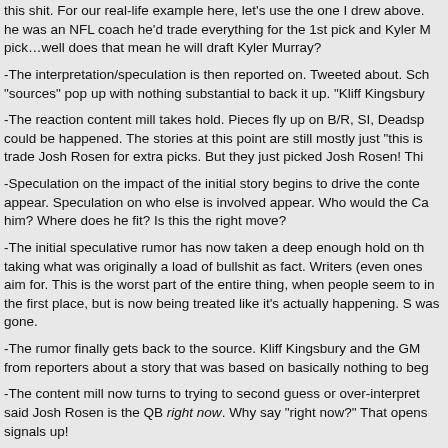this shit. For our real-life example here, let's use the one I drew above. he was an NFL coach he'd trade everything for the 1st pick and Kyler M pick…well does that mean he will draft Kyler Murray?
-The interpretation/speculation is then reported on. Tweeted about. Sch "sources" pop up with nothing substantial to back it up. "Kliff Kingsbury
-The reaction content mill takes hold. Pieces fly up on B/R, SI, Deadsp could be happened. The stories at this point are still mostly just "this is trade Josh Rosen for extra picks. But they just picked Josh Rosen! Thi
-Speculation on the impact of the initial story begins to drive the conte appear. Speculation on who else is involved appear. Who would the Ca him? Where does he fit? Is this the right move?
-The initial speculative rumor has now taken a deep enough hold on th taking what was originally a load of bullshit as fact. Writers (even ones aim for. This is the worst part of the entire thing, when people seem to in the first place, but is now being treated like it's actually happening. S was gone.
-The rumor finally gets back to the source. Kliff Kingsbury and the GM from reporters about a story that was based on basically nothing to beg
-The content mill now turns to trying to second guess or over-interpret said Josh Rosen is the QB right now. Why say "right now?" That opens signals up!
-Eventually the content mill runs out of stories to run because nothing